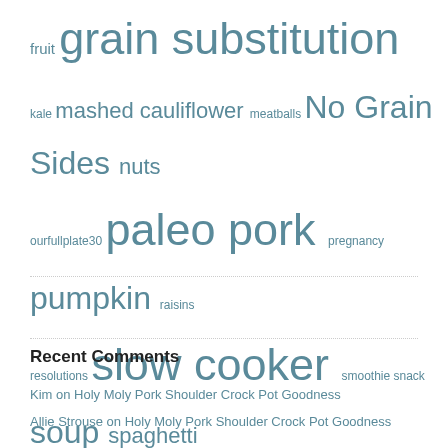fruit grain substitution kale mashed cauliflower meatballs No Grain Sides nuts ourfullplate30 paleo pork pregnancy pumpkin raisins resolutions slow cooker smoothie snack soup spaghetti squash spinach sweet potato sweets vegetarian WOD zucchini
Recent Comments
Kim on Holy Moly Pork Shoulder Crock Pot Goodness
Allie Strouse on Holy Moly Pork Shoulder Crock Pot Goodness